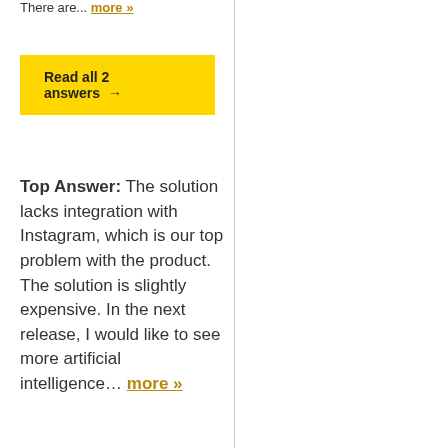There are... more »
Read all 2 answers →
Top Answer:  The solution lacks integration with Instagram, which is our top problem with the product. The solution is slightly expensive. In the next release, I would like to see more artificial intelligence… more »